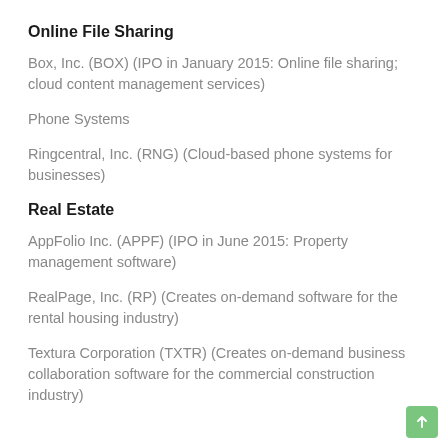Online File Sharing
Box, Inc. (BOX) (IPO in January 2015: Online file sharing; cloud content management services)
Phone Systems
Ringcentral, Inc. (RNG) (Cloud-based phone systems for businesses)
Real Estate
AppFolio Inc. (APPF) (IPO in June 2015: Property management software)
RealPage, Inc. (RP) (Creates on-demand software for the rental housing industry)
Textura Corporation (TXTR) (Creates on-demand business collaboration software for the commercial construction industry)